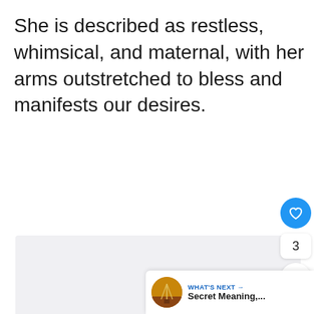She is described as restless, whimsical, and maternal, with her arms outstretched to bless and manifests our desires.
[Figure (other): Large light gray placeholder image area below the text block, with social interaction buttons (heart/like, count '3', share) on the right side, and a 'What's Next' recommendation panel in the bottom right corner showing 'Secret Meaning,...']